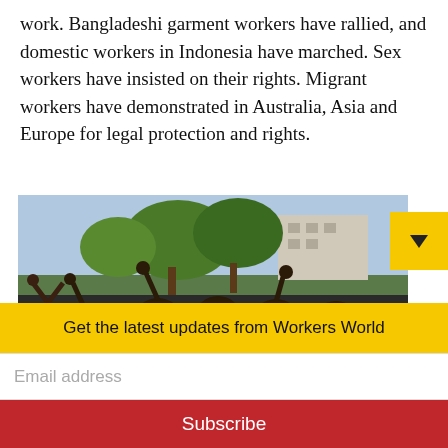work. Bangladeshi garment workers have rallied, and domestic workers in Indonesia have marched. Sex workers have insisted on their rights. Migrant workers have demonstrated in Australia, Asia and Europe for legal protection and rights.
[Figure (photo): Group of women marching with raised fists, wearing white shirts and purple headbands, outdoors with trees and buildings in background]
Get the latest updates from Workers World
Email address
Subscribe